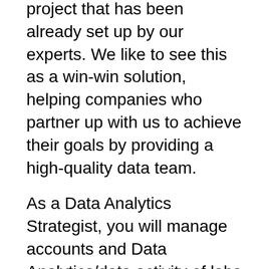project that has been already set up by our experts. We like to see this as a win-win solution, helping companies who partner up with us to achieve their goals by providing a high-quality data team.
As a Data Analytics Strategist, you will manage accounts and Data Analytics/data activity of labs clients and you will mentor RevoU students to work on each project. You will be helping our students prepare their portfolio and gain experience from the projects before they work for the company!
The position is perfectly suited for individuals with 2-3 years of work in Tech Startup Company with a big data approach.
Come join us if you are an individual with high curiosity, as we are going to try out many plans...